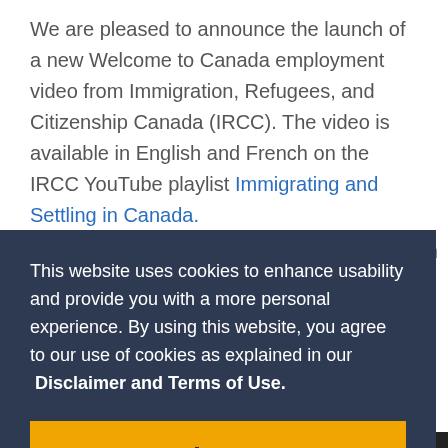We are pleased to announce the launch of a new Welcome to Canada employment video from Immigration, Refugees, and Citizenship Canada (IRCC). The video is available in English and French on the IRCC YouTube playlist Immigrating and Settling in Canada.
with
This website uses cookies to enhance usability and provide you with a more personal experience. By using this website, you agree to our use of cookies as explained in our Disclaimer and Terms of Use.
Agree